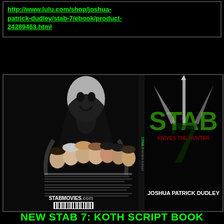http://www.lulu.com/shop/joshua-patrick-dudley/stab-7/ebook/product-24289463.html
[Figure (photo): Book cover of 'STAB 7: Knives the Hunter' by Joshua Patrick Dudley, showing Ghostface mask, group of teens, green STAB logo with knife, and author name. Back cover shows STABMOVIES.com and barcode.]
NEW STAB 7: KOTH SCRIPT BOOK